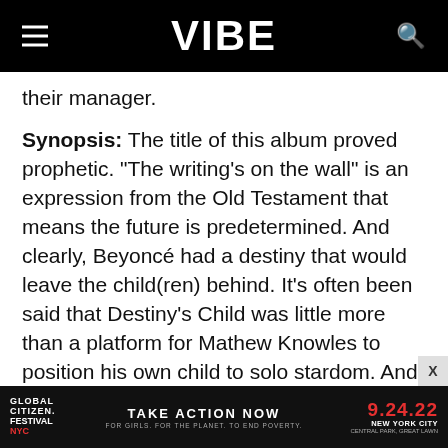VIBE
their manager.
Synopsis: The title of this album proved prophetic. “The writing’s on the wall” is an expression from the Old Testament that means the future is predetermined. And clearly, Beyoncé had a destiny that would leave the child(ren) behind. It’s often been said that Destiny’s Child was little more than a platform for Mathew Knowles to position his own child to solo stardom. And a close re-listen to this multi-platinum album makes that hard to deny. If you close your eyes and try real hard, you may be able to catch a few lines from Kelly here and there
[Figure (other): Global Citizen Festival NYC advertisement banner: TAKE ACTION NOW 9.24.22 NEW YORK CITY CENTRAL PARK, GREAT LAWN. FOR GIRLS. FOR THE PLANET. TO END POVERTY.]